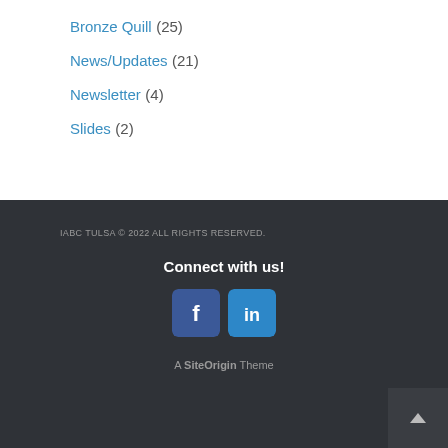Bronze Quill (25)
News/Updates (21)
Newsletter (4)
Slides (2)
IABC TULSA © 2022 ALL RIGHTS RESERVED.
Connect with us!
[Figure (logo): Facebook and LinkedIn social media icon buttons]
A SiteOrigin Theme